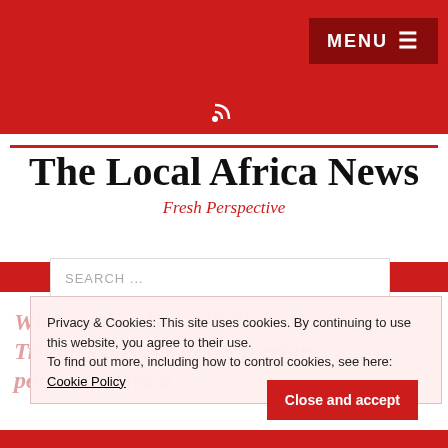MENU ☰
[Figure (other): RSS feed icon (white) on red background]
The Local Africa News
Fresh Perspective
SEARCH ...
Privacy & Cookies: This site uses cookies. By continuing to use this website, you agree to their use.
To find out more, including how to control cookies, see here: Cookie Policy
Where's the 'You will likely be Trump's answer to US foreign policy on Africa